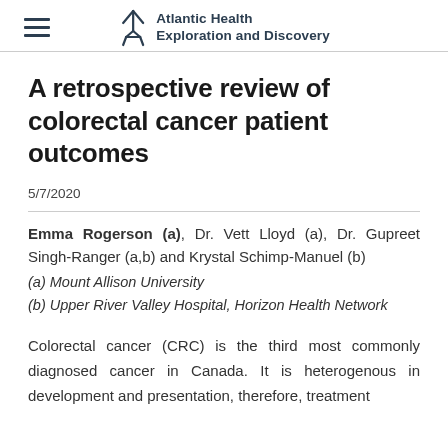Atlantic Health Exploration and Discovery
A retrospective review of colorectal cancer patient outcomes
5/7/2020
Emma Rogerson (a), Dr. Vett Lloyd (a), Dr. Gupreet Singh-Ranger (a,b) and Krystal Schimp-Manuel (b)
(a) Mount Allison University
(b) Upper River Valley Hospital, Horizon Health Network
Colorectal cancer (CRC) is the third most commonly diagnosed cancer in Canada. It is heterogenous in development and presentation, therefore, treatment